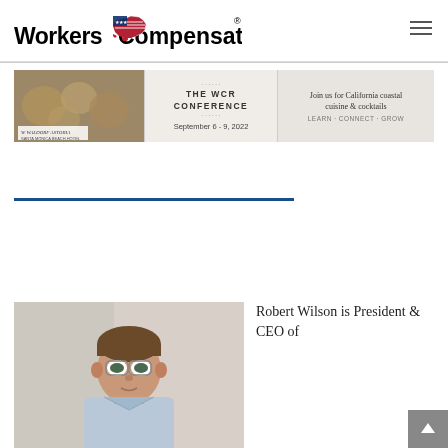[Figure (logo): WorkersCompensation.com logo with American flag shaped as USA map, bold black text]
[Figure (screenshot): Banner advertisement for The WCR Conference, September 6-9, 2022 at Waldorf Astoria. Join us for California coastal cuisine & cocktails. Learn Connect Grow.]
[Figure (photo): Photo of Robert Wilson, a middle-aged man with brown hair and glasses, wearing a light blue shirt, seated indoors]
Robert Wilson is President & CEO of